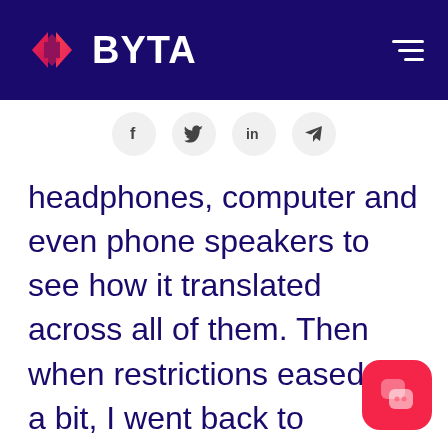BYTA
[Figure (logo): BYTA logo with diamond/arrow icon in red-pink gradient on dark navy background, with hamburger menu icon on the right]
[Figure (infographic): Social share buttons row: f (Facebook), bird (Twitter), in (LinkedIn), paper plane (Telegram)]
headphones, computer and even phone speakers to see how it translated across all of them. Then when restrictions eased up a bit, I went back to Montréal where Howard and I brought everything over the finish line together and we could both be